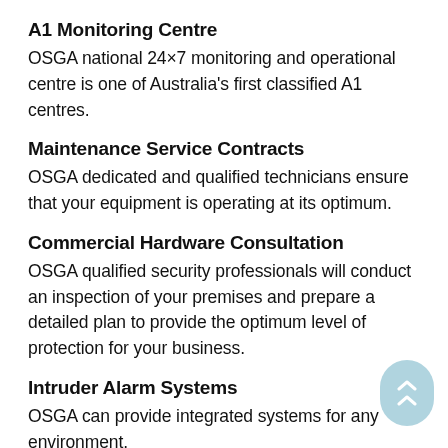A1 Monitoring Centre
OSGA national 24×7 monitoring and operational centre is one of Australia's first classified A1 centres.
Maintenance Service Contracts
OSGA dedicated and qualified technicians ensure that your equipment is operating at its optimum.
Commercial Hardware Consultation
OSGA qualified security professionals will conduct an inspection of your premises and prepare a detailed plan to provide the optimum level of protection for your business.
Intruder Alarm Systems
OSGA can provide integrated systems for any environment.
Access Control Systems – OSGA can provide